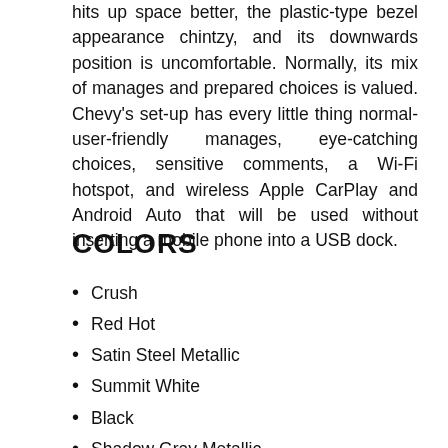hits up space better, the plastic-type bezel appearance chintzy, and its downwards position is uncomfortable. Normally, its mix of manages and prepared choices is valued. Chevy's set-up has every little thing normal-user-friendly manages, eye-catching choices, sensitive comments, a Wi-Fi hotspot, and wireless Apple CarPlay and Android Auto that will be used without inserting a mobile phone into a USB dock.
COLORS
Crush
Red Hot
Satin Steel Metallic
Summit White
Black
Shadow Gray Metallic
Shock